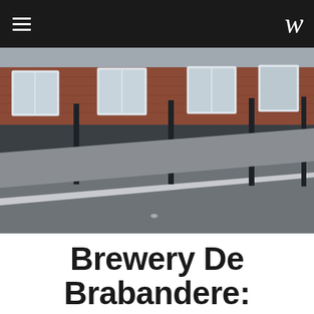≡   ω
[Figure (photo): Street-level photograph of a red brick brewery building with white-framed windows, dark base, and a wide road in the foreground under an overcast sky.]
Brewery De Brabandere: a family run business.